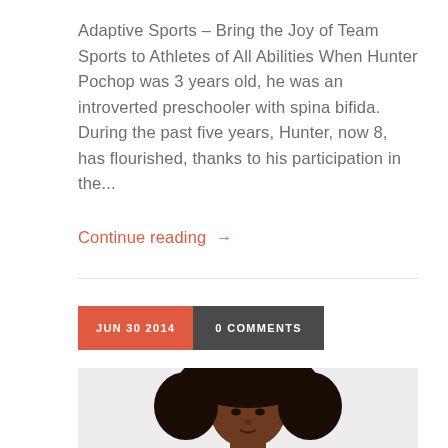Adaptive Sports – Bring the Joy of Team Sports to Athletes of All Abilities When Hunter Pochop was 3 years old, he was an introverted preschooler with spina bifida. During the past five years, Hunter, now 8, has flourished, thanks to his participation in the...
Continue reading →
JUN 30 2014   0 COMMENTS
[Figure (photo): Photo of a young girl with curly hair and a red headband, shown from shoulders up against a light gray background.]